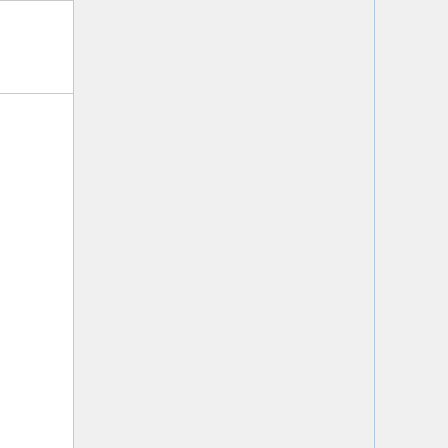| Date | Time | Event | Description |
| --- | --- | --- | --- |
|  |  |  | happening part of the |
| January 20 | 9am EST / 2pm UTC | Glitter Meetup: Pluggable Transports | Glitter Me… the weekly hall of the Internet F… community happening IFF Squa… Read Note Here |
| January | 8am EST / | Lingua | Lingua Ca… online lan exchange to anyone the Team CommUN… community is interest improving |